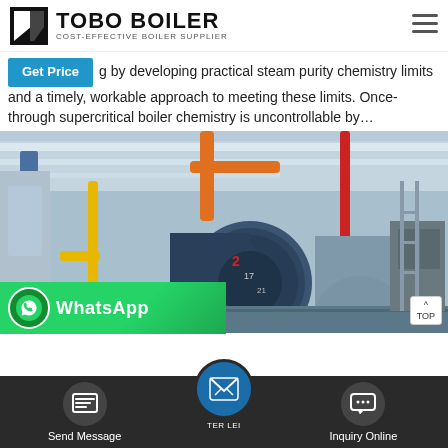TOBO BOILER - COST-EFFECTIVE BOILER SUPPLIER
by developing practical steam purity chemistry limits and a timely, workable approach to meeting these limits. Once-through supercritical boiler chemistry is uncontrollable by…
[Figure (photo): Industrial boiler room interior showing large blue cylindrical boiler with orange and red piping, yellow gas pipes, blue beams, and industrial equipment. Professional boiler installation photograph.]
[Figure (screenshot): WhatsApp contact button overlay at bottom left with green background and WhatsApp logo icon with text 'WhatsApp']
Send Message | Inquiry Online